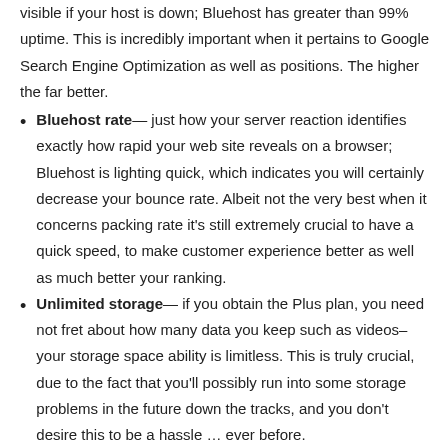visible if your host is down; Bluehost has greater than 99% uptime. This is incredibly important when it pertains to Google Search Engine Optimization as well as positions. The higher the far better.
Bluehost rate— just how your server reaction identifies exactly how rapid your web site reveals on a browser; Bluehost is lighting quick, which indicates you will certainly decrease your bounce rate. Albeit not the very best when it concerns packing rate it's still extremely crucial to have a quick speed, to make customer experience better as well as much better your ranking.
Unlimited storage— if you obtain the Plus plan, you need not fret about how many data you keep such as videos– your storage space ability is limitless. This is truly crucial, due to the fact that you'll possibly run into some storage problems in the future down the tracks, and you don't desire this to be a hassle … ever before.